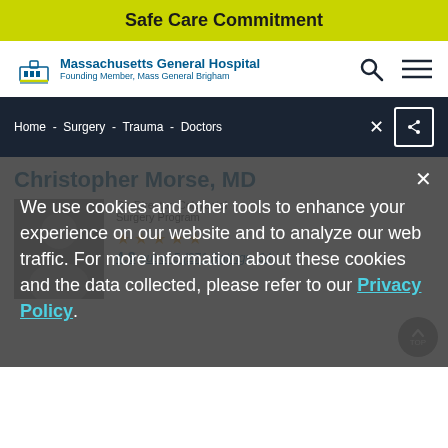Safe Care Commitment
[Figure (logo): Massachusetts General Hospital logo with text 'Founding Member, Mass General Brigham']
Home - Surgery - Trauma - Doctors
Christopher Morse, MD
[Figure (photo): Photo of Dr. Christopher Morse, MD]
Co-Director, Colorectal Surgery Program
4.8 out of 5 (271 Ratings, 64
We use cookies and other tools to enhance your experience on our website and to analyze our web traffic. For more information about these cookies and the data collected, please refer to our Privacy Policy.